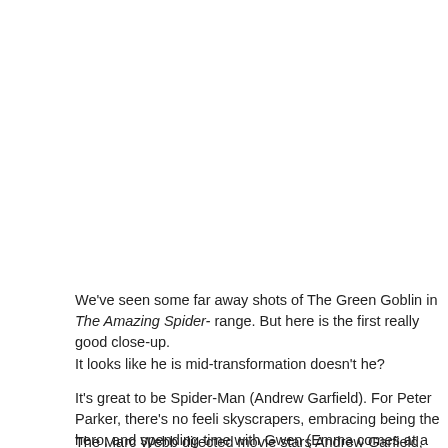We've seen some far away shots of The Green Goblin in The Amazing Spider-[Man 2] range. But here is the first really good close-up.
It looks like he is mid-transformation doesn't he?
It's great to be Spider-Man (Andrew Garfield). For Peter Parker, there's no feel[ing like] skyscrapers, embracing being the hero, and spending time with Gwen (Emma [Stone). But it] comes at a price: only Spider-Man can protect his fellow New Yorkers from the [villains of] the city. With the emergence of Electro (Jamie Foxx), Peter must confront a foe [far more powerful. And] as his old friend, Harry Osborn (Dane DeHaan), returns, Peter comes to realize [they have one] thing in common: OsCorp.
The Marc Webb directed movie stars Andrew Garfield, Emma Stone, Jaimie [Foxx...]